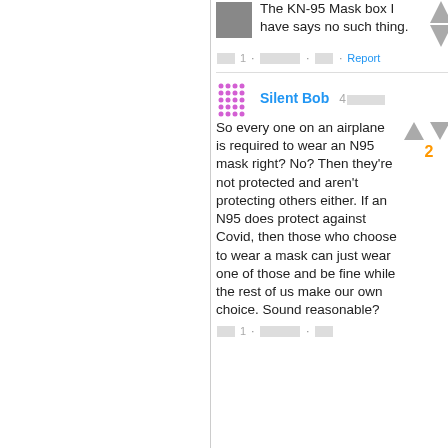The KN-95 Mask box I have says no such thing.
[redacted] 1 · [redacted] · [redacted] · Report
Silent Bob 4[redacted]
So every one on an airplane is required to wear an N95 mask right? No? Then they're not protected and aren't protecting others either. If an N95 does protect against Covid, then those who choose to wear a mask can just wear one of those and be fine while the rest of us make our own choice. Sound reasonable?
[redacted] 1 · [redacted] · [redacted]